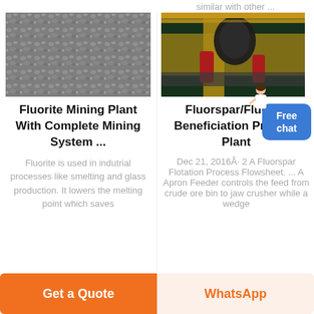similar with other ...
[Figure (photo): Crushed fluorite mineral rock aggregate, grey and white stones]
[Figure (photo): Industrial mining/beneficiation machinery in a plant, yellow structure with red equipment]
Fluorite Mining Plant With Complete Mining System ...
Fluorspar/Fluorite Beneficiation Process Plant
Dec 21, 2016Â· 2 A Fluorspar Flotation Process Flowsheet. ... A Apron Feeder controls the feed from crude ore bin to jaw crusher while a wedge
Fluorite is used in indutrial processes like smelting and glass production. It lowers the melting point which saves
[Figure (illustration): Small figure of a person (customer service representative) next to Free chat button]
Free
chat
Get a Quote
WhatsApp